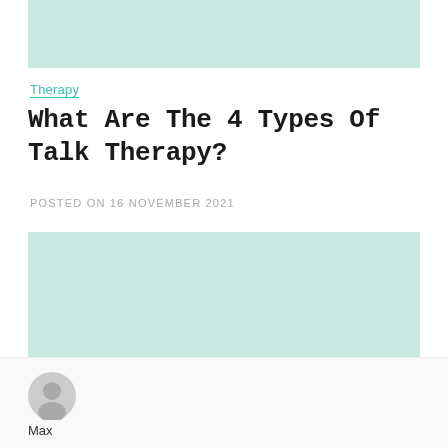[Figure (illustration): Light mint/teal colored placeholder image bar at the top of the page]
Therapy
What Are The 4 Types Of Talk Therapy?
POSTED ON 16 NOVEMBER 2021
[Figure (illustration): Large light mint/teal colored placeholder image in the center of the page]
Max